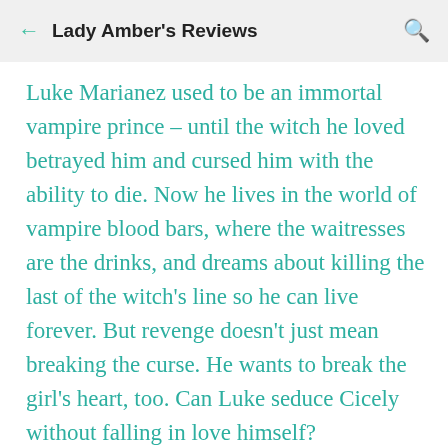Lady Amber's Reviews
Luke Marianez used to be an immortal vampire prince – until the witch he loved betrayed him and cursed him with the ability to die. Now he lives in the world of vampire blood bars, where the waitresses are the drinks, and dreams about killing the last of the witch's line so he can live forever. But revenge doesn't just mean breaking the curse. He wants to break the girl's heart, too. Can Luke seduce Cicely without falling in love himself?